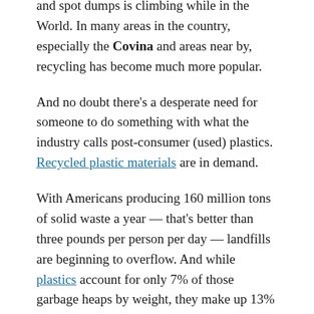and spot dumps is climbing while in the World. In many areas in the country, especially the Covina and areas near by, recycling has become much more popular.
And no doubt there's a desperate need for someone to do something with what the industry calls post-consumer (used) plastics. Recycled plastic materials are in demand.
With Americans producing 160 million tons of solid waste a year — that's better than three pounds per person per day — landfills are beginning to overflow. And while plastics account for only 7% of those garbage heaps by weight, they make up 13% of their volume. Anything, even a mailbox post, that can reduce